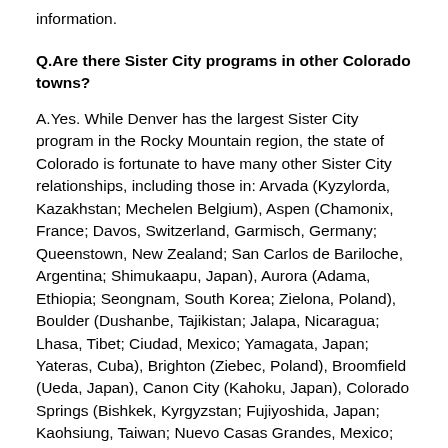information.
Q.Are there Sister City programs in other Colorado towns?
A.Yes. While Denver has the largest Sister City program in the Rocky Mountain region, the state of Colorado is fortunate to have many other Sister City relationships, including those in: Arvada (Kyzylorda, Kazakhstan; Mechelen Belgium), Aspen (Chamonix, France; Davos, Switzerland, Garmisch, Germany; Queenstown, New Zealand; San Carlos de Bariloche, Argentina; Shimukaapu, Japan), Aurora (Adama, Ethiopia; Seongnam, South Korea; Zielona, Poland), Boulder (Dushanbe, Tajikistan; Jalapa, Nicaragua; Lhasa, Tibet; Ciudad, Mexico; Yamagata, Japan; Yateras, Cuba), Brighton (Ziebec, Poland), Broomfield (Ueda, Japan), Canon City (Kahoku, Japan), Colorado Springs (Bishkek, Kyrgyzstan; Fujiyoshida, Japan; Kaohsiung, Taiwan; Nuevo Casas Grandes, Mexico; Smolensk, Ukraine), Ft. Collins (Alcalá de Henares, Spain)